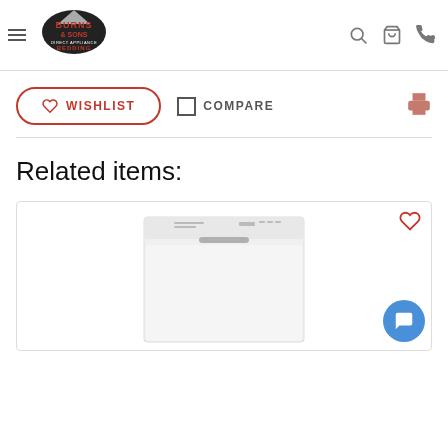Burns & Sons Direct Appliance and Bedding - navigation header with logo, search, cart, phone icons
WISHLIST | COMPARE | Print
Related items:
[Figure (photo): Product card showing a white dishwasher with top control panel, with a heart/wishlist icon in the top right and a blue chat bubble button in the lower right corner]